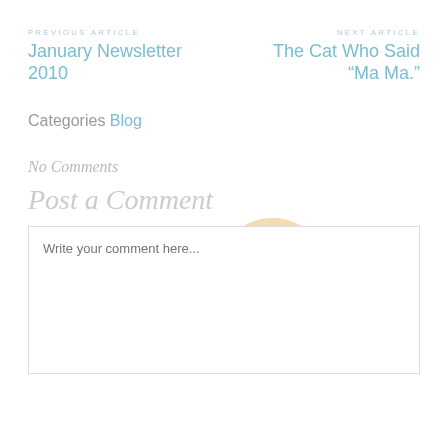PREVIOUS ARTICLE
January Newsletter 2010
NEXT ARTICLE
The Cat Who Said “Ma Ma.”
Categories Blog
No Comments
Post a Comment
[Figure (illustration): A decorative light beige/tan circle shape overlapping the Post a Comment heading area]
Write your comment here...